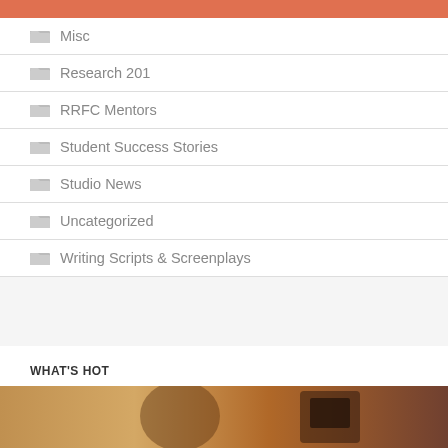Misc
Research 201
RRFC Mentors
Student Success Stories
Studio News
Uncategorized
Writing Scripts & Screenplays
WHAT'S HOT
[Figure (photo): A photo of a person near a camera, warm toned scene]